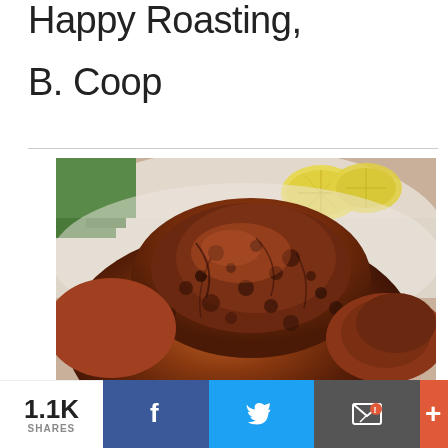Happy Roasting,
B. Coop
[Figure (photo): Close-up photo of a roasted whole chicken/turkey with dark seasoned crust, lemon slices and green herbs visible in background, on a white platter]
1.1K SHARES | Facebook | Twitter | Email | More (+)